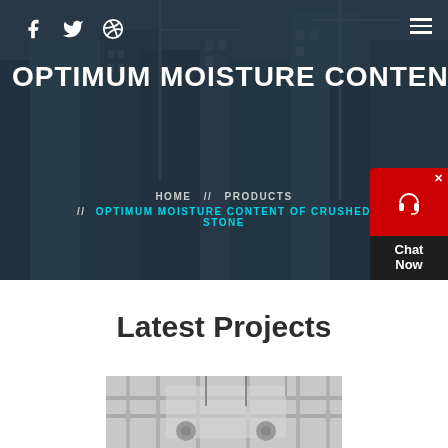[Figure (photo): Construction site background with cranes and city buildings under blue-grey dark overlay, serving as hero banner]
Social icons: Facebook, Twitter, Dribbble | Hamburger menu
OPTIMUM MOISTURE CONTENT
HOME // PRODUCTS // OPTIMUM MOISTURE CONTENT OF CRUSHED STONE
[Figure (illustration): Chat widget with red top showing headset icon and close button, dark bottom section with text Chat Now]
Latest Projects
[Figure (photo): Industrial construction machinery or equipment, bottom portion of page]